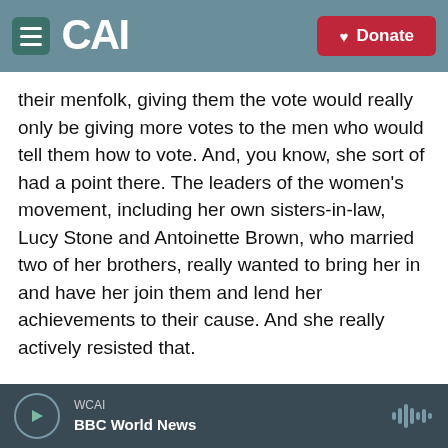CAI — Donate
their menfolk, giving them the vote would really only be giving more votes to the men who would tell them how to vote. And, you know, she sort of had a point there. The leaders of the women's movement, including her own sisters-in-law, Lucy Stone and Antoinette Brown, who married two of her brothers, really wanted to bring her in and have her join them and lend her achievements to their cause. And she really actively resisted that.
CHANG: So fascinating. So ultimately, what do you think each of the sisters, Elizabeth and Emily - what do you think they each gave to the practice of
WCAI — BBC World News